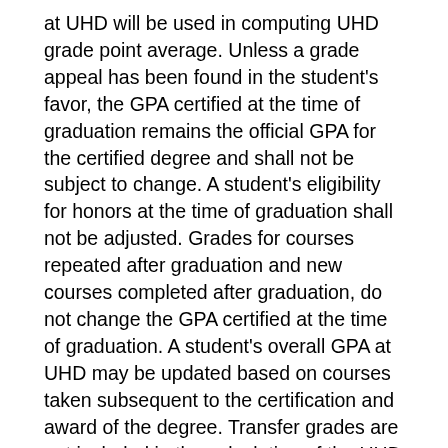at UHD will be used in computing UHD grade point average. Unless a grade appeal has been found in the student's favor, the GPA certified at the time of graduation remains the official GPA for the certified degree and shall not be subject to change. A student's eligibility for honors at the time of graduation shall not be adjusted. Grades for courses repeated after graduation and new courses completed after graduation, do not change the GPA certified at the time of graduation. A student's overall GPA at UHD may be updated based on courses taken subsequent to the certification and award of the degree. Transfer grades are not included in the calculation of the UHD GPA.
Repeated Courses
Undergraduate students may enroll in a course at UHD no more than three times.  Students may appeal this restriction by petitioning the dean of the college in which the course is housed. When a course is repeated, only the highest grade earned at UHD will be used in computing